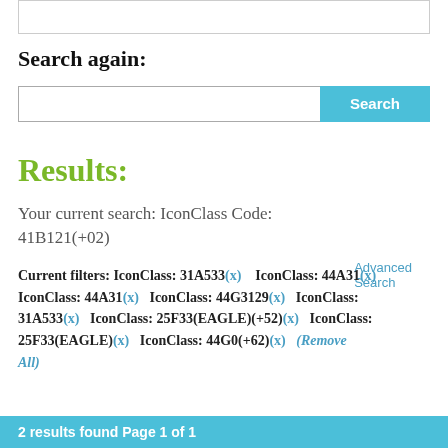Search again:
Search [input box] [Search button] Advanced Search
Results:
Your current search: IconClass Code: 41B121(+02)
Current filters: IconClass: 31A533(x)   IconClass: 44A31(x)   IconClass: 44A31(x)   IconClass: 44G3129(x)   IconClass: 31A533(x)   IconClass: 25F33(EAGLE)(+52)(x)   IconClass: 25F33(EAGLE)(x)   IconClass: 44G0(+62)(x)   (Remove All)
2 results found Page 1 of 1